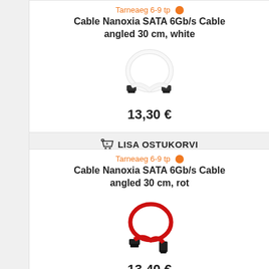Tarneaeg 6-9 tp
Cable Nanoxia SATA 6Gb/s Cable angled 30 cm, white
[Figure (photo): White SATA cable with angled connectors, looped in a circle]
13,30 €
LISA OSTUKORVI
Tarneaeg 6-9 tp
Cable Nanoxia SATA 6Gb/s Cable angled 30 cm, rot
[Figure (photo): Red SATA cable with angled connectors, looped in a circle]
13,40 €
LISA OSTUKORVI